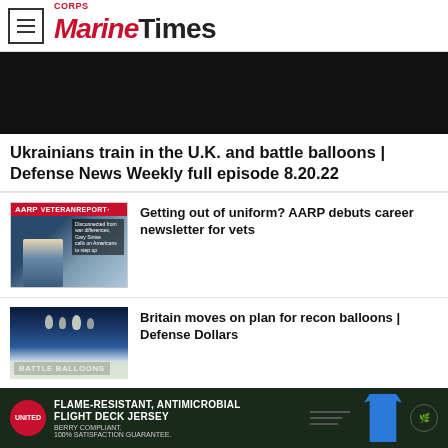Marine Corps Times
[Figure (screenshot): Black hero banner area below site header]
Ukrainians train in the U.K. and battle balloons | Defense News Weekly full episode 8.20.22
[Figure (photo): AARP Veteran Report thumbnail showing a man in a suit with text overlay]
Getting out of uniform? AARP debuts career newsletter for vets
[Figure (photo): Battle Balloons thumbnail showing balloons over ocean landscape]
Britain moves on plan for recon balloons | Defense Dollars
[Figure (photo): Orange/red thumbnail for Guam missiles article]
Priorities for detecting missiles from Guam
[Figure (infographic): Advertisement banner: United, Flame-Resistant Antimicrobial Flight Deck Jersey, Berry Compliant, 100% Satisfaction Guarantee]